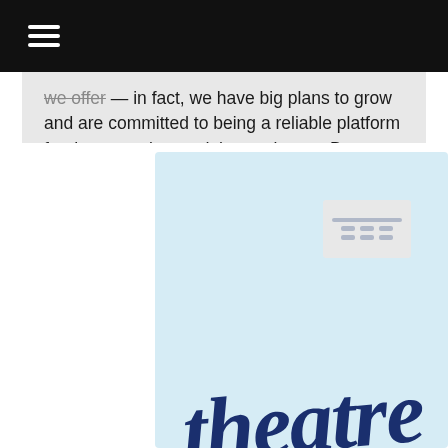[hamburger menu icon]
we offer — in fact, we have big plans to grow and are committed to being a reliable platform for theatre artists and theatre lovers. But to help us get there, we need support. If everyone who reads Intermission, and who finds value in what we publish, chips in a bit, our future would be much more secure. Please consider donating so we can keep working hard to give you the theatre arts journalism that is needed and wanted.

If you would like to make a one-off or monthly donation, you can here: DONATE NOW
[Figure (illustration): Light blue banner image with handwritten-style dark navy script text reading 'theatre' with a partial ticket stub graphic in the upper left corner]